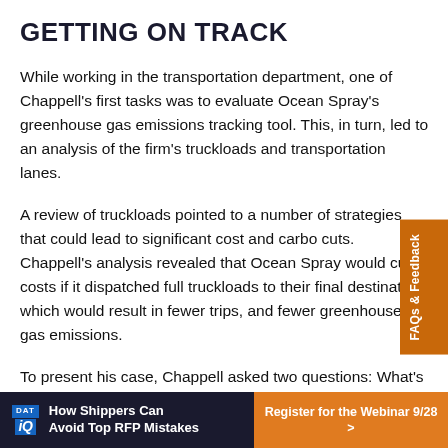GETTING ON TRACK
While working in the transportation department, one of Chappell’s first tasks was to evaluate Ocean Spray’s greenhouse gas emissions tracking tool. This, in turn, led to an analysis of the firm’s truckloads and transportation lanes.
A review of truckloads pointed to a number of strategies that could lead to significant cost and carbo cuts. Chappell's analysis revealed that Ocean Spray would cut costs if it dispatched full truckloads to their final destination, which would result in fewer trips, and fewer greenhouse gas emissions.
To present his case, Chappell asked two questions: What's the cost and value of stock on the shelves? And
[Figure (other): Orange sidebar tab reading 'FAQs & Feedback' rotated vertically on the right side of the page]
[Figure (other): Bottom advertisement bar: DAT IQ logo on dark background with text 'How Shippers Can Avoid Top RFP Mistakes' and orange button 'Register for the Webinar 9/28 >']